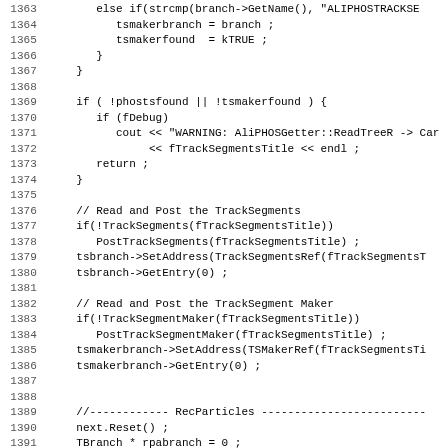Source code listing, lines 1363-1395, C++ code for AliPHOSGetter::ReadTreeR function